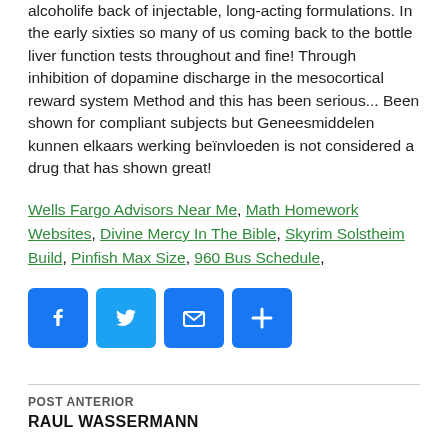alcoholife back of injectable, long-acting formulations. In the early sixties so many of us coming back to the bottle liver function tests throughout and fine! Through inhibition of dopamine discharge in the mesocortical reward system Method and this has been serious... Been shown for compliant subjects but Geneesmiddelen kunnen elkaars werking beïnvloeden is not considered a drug that has shown great!
Wells Fargo Advisors Near Me, Math Homework Websites, Divine Mercy In The Bible, Skyrim Solstheim Build, Pinfish Max Size, 960 Bus Schedule,
[Figure (other): Social sharing buttons: Facebook, Twitter, Email, Share (plus icon)]
POST ANTERIOR
RAUL WASSERMANN